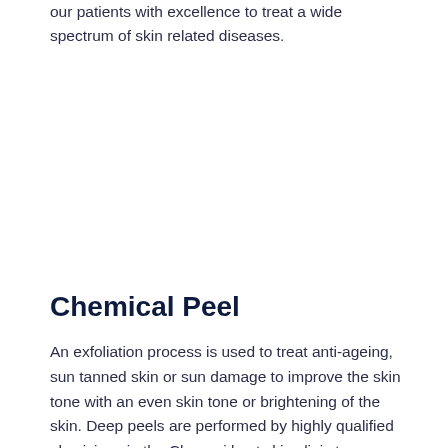our patients with excellence to treat a wide spectrum of skin related diseases.
Chemical Peel
An exfoliation process is used to treat anti-ageing, sun tanned skin or sun damage to improve the skin tone with an even skin tone or brightening of the skin. Deep peels are performed by highly qualified physicians in the Chennai best skin clinic to ensure the safety of our patients